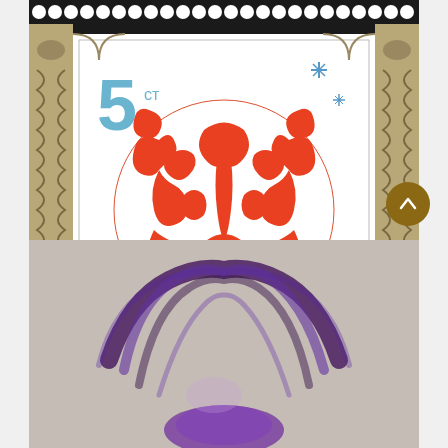[Figure (illustration): Postage stamp depicting a symmetrical red ornamental dragon/lion paper-cut design on white background with blue snowflake decorations, denomination '5 ct', ornate gold border on sides with perforated edges on a dark background]
[Figure (illustration): Close-up of another stamp or art piece showing brushstroke-style purple and dark ink marks resembling a crown or hair/fur, on light beige background]